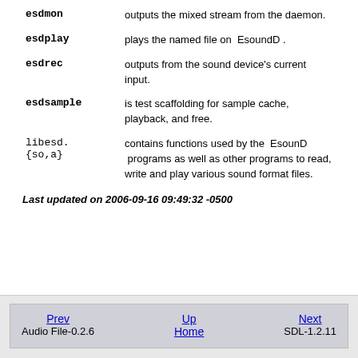esdmon — outputs the mixed stream from the daemon.
esdplay — plays the named file on EsoundD .
esdrec — outputs from the sound device's current input.
esdsample — is test scaffolding for sample cache, playback, and free.
libesd.{so,a} — contains functions used by the EsounD programs as well as other programs to read, write and play various sound format files.
Last updated on 2006-09-16 09:49:32 -0500
Prev | Up Home | Next | Audio File-0.2.6 | SDL-1.2.11